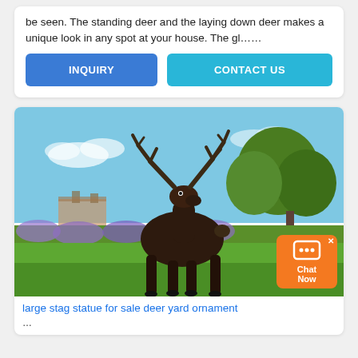be seen. The standing deer and the laying down deer makes a unique look in any spot at your house. The gl……
INQUIRY
CONTACT US
[Figure (photo): A large bronze stag statue standing in a garden with hydrangea flowers and trees in the background and a building visible behind hedges]
large stag statue for sale deer yard ornament
...